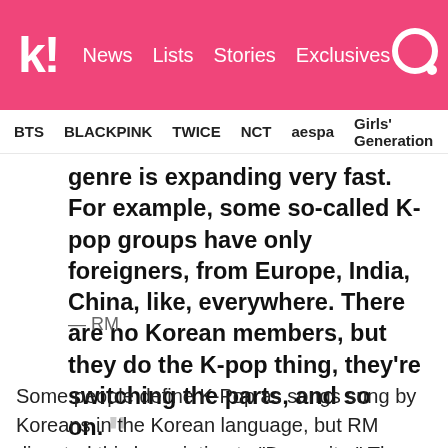k! News Lists Stories Exclusives
BTS BLACKPINK TWICE NCT aespa Girls' Generation
genre is expanding very fast. For example, some so-called K-pop groups have only foreigners, from Europe, India, China, like, everywhere. There are no Korean members, but they do the K-pop thing, they’re switching the parts, and so on. ””
— RM
Some people define K-Pop as songs sung by Koreans in the Korean language, but RM disputed this by pointing to “Dynamite.” The